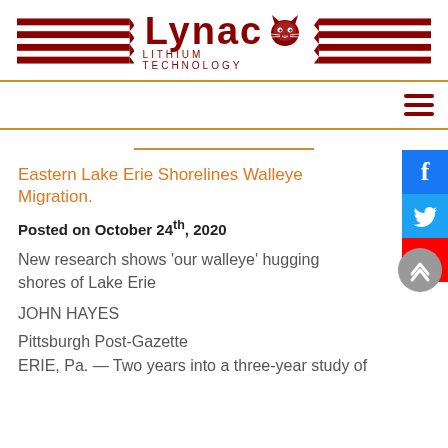[Figure (logo): Lynac Lithium Technology logo with red chevron stripes flanking the brand name and a lynx head graphic]
Eastern Lake Erie Shorelines Walleye Migration.
Posted on October 24th, 2020
New research shows 'our walleye' hugging shores of Lake Erie
JOHN HAYES
Pittsburgh Post-Gazette
ERIE, Pa. — Two years into a three-year study of